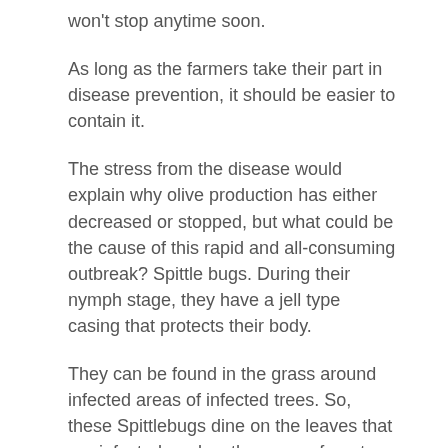won't stop anytime soon.
As long as the farmers take their part in disease prevention, it should be easier to contain it.
The stress from the disease would explain why olive production has either decreased or stopped, but what could be the cause of this rapid and all-consuming outbreak? Spittle bugs. During their nymph stage, they have a jell type casing that protects their body.
They can be found in the grass around infected areas of infected trees. So, these Spittlebugs dine on the leaves that are infected, and as they move from tree to tree, they spread the disease.